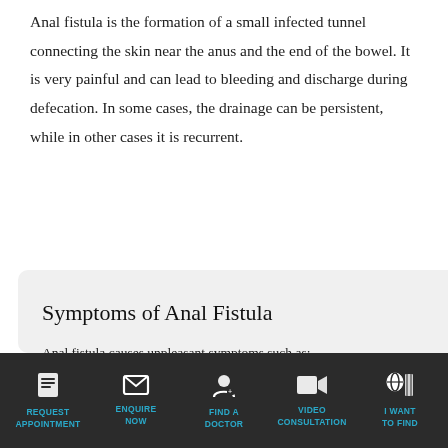Anal fistula is the formation of a small infected tunnel connecting the skin near the anus and the end of the bowel. It is very painful and can lead to bleeding and discharge during defecation. In some cases, the drainage can be persistent, while in other cases it is recurrent.
Symptoms of Anal Fistula
Anal fistula causes unpleasant symptoms such as:
fever, around 380 C (100.4F) or above
constipation or pain during bowel movements
irritation, redness or swelling of the skin surrounding the anus
discharge of pus or blood during defecation
REQUEST APPOINTMENT | ENQUIRE NOW | FIND A DOCTOR | VIDEO CONSULTATION | I WANT TO FIND